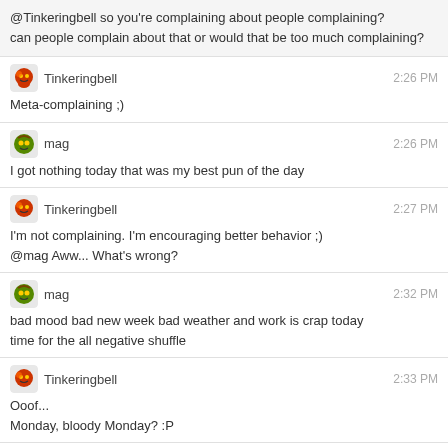@Tinkeringbell so you're complaining about people complaining?
can people complain about that or would that be too much complaining?
Tinkeringbell 2:26 PM
Meta-complaining ;)
mag 2:26 PM
I got nothing today that was my best pun of the day
Tinkeringbell 2:27 PM
I'm not complaining. I'm encouraging better behavior ;)
@mag Aww... What's wrong?
mag 2:32 PM
bad mood bad new week bad weather and work is crap today
time for the all negative shuffle
Tinkeringbell 2:33 PM
Ooof...
Monday, bloody Monday? :P
mag 2:33 PM
there is a thick fog over the town you can barely see 25m and it's not clearing up
Tinkeringbell 2:34 PM
Does a cute No Drama Llama help a bit? It has cheerful colours...